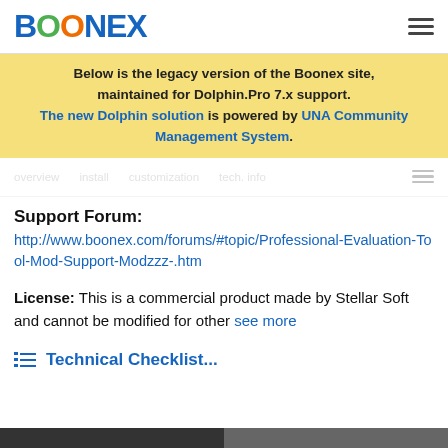BOONEX
Below is the legacy version of the Boonex site, maintained for Dolphin.Pro 7.x support. The new Dolphin solution is powered by UNA Community Management System.
Support Forum: http://www.boonex.com/forums/#topic/Professional-Evaluation-Tool-Mod-Support-Modzzz-.htm
License: This is a commercial product made by Stellar Soft and cannot be modified for other see more
Technical Checklist...